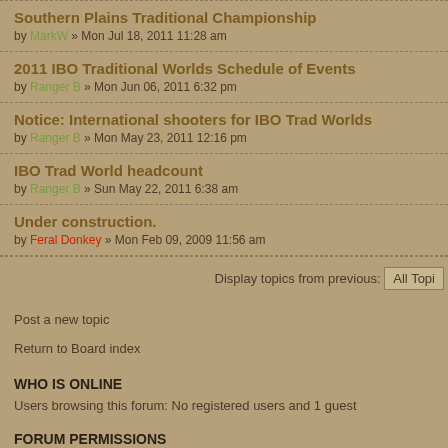Southern Plains Traditional Championship
by MarkW » Mon Jul 18, 2011 11:28 am
2011 IBO Traditional Worlds Schedule of Events
by Ranger B » Mon Jun 06, 2011 6:32 pm
Notice: International shooters for IBO Trad Worlds
by Ranger B » Mon May 23, 2011 12:16 pm
IBO Trad World headcount
by Ranger B » Sun May 22, 2011 6:38 am
Under construction.
by Feral Donkey » Mon Feb 09, 2009 11:56 am
Display topics from previous: All Top
Post a new topic
Return to Board index
WHO IS ONLINE
Users browsing this forum: No registered users and 1 guest
FORUM PERMISSIONS
You cannot post new topics in this forum
You cannot reply to topics in this forum